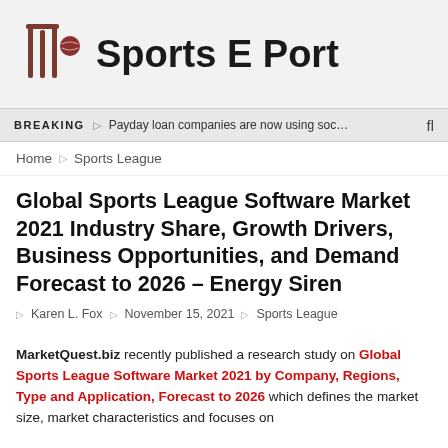[Figure (logo): Sports E Port website logo with cricket stumps icon and bold site name text]
BREAKING  □  Payday loan companies are now using soc…
Home □ Sports League
Global Sports League Software Market 2021 Industry Share, Growth Drivers, Business Opportunities, and Demand Forecast to 2026 – Energy Siren
□ Karen L. Fox □ November 15, 2021 □ Sports League
MarketQuest.biz recently published a research study on Global Sports League Software Market 2021 by Company, Regions, Type and Application, Forecast to 2026 which defines the market size, market characteristics and focuses on